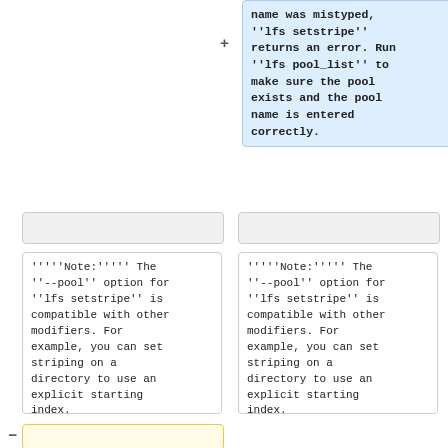name was mistyped, ''lfs setstripe'' returns an error. Run ''lfs pool_list'' to make sure the pool exists and the pool name is entered correctly.
''''''Note:'''''' The ''--pool'' option for ''lfs setstripe'' is compatible with other modifiers. For example, you can set striping on a directory to use an explicit starting index.
''''''Note:'''''' The ''--pool'' option for ''lfs setstripe'' is compatible with other modifiers. For example, you can set striping on a directory to use an explicit starting index.